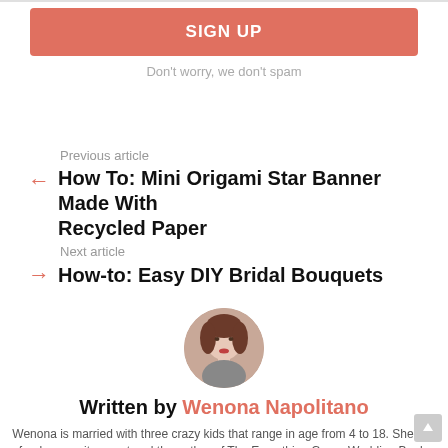SIGN UP
Don't worry, we don't spam
Previous article
How To: Mini Origami Star Banner Made With Recycled Paper
Next article
How-to: Easy DIY Bridal Bouquets
[Figure (photo): Circular author photo of Wenona Napolitano]
Written by Wenona Napolitano
Wenona is married with three crazy kids that range in age from 4 to 18. She is a freelance writer, poet and the author of The Everything Green Wedding Book.